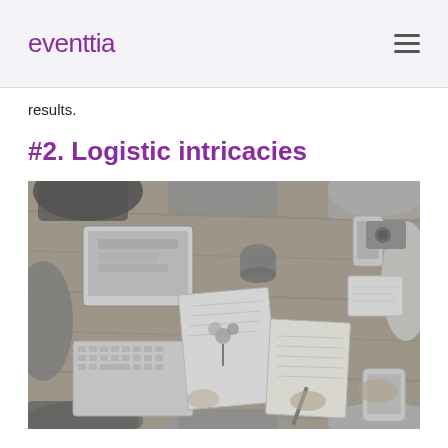eventtia
results.
#2. Logistic intricacies
[Figure (photo): Black and white aerial/top-down view of people sitting around a wooden table working together, with laptops, tablets, notebooks, coffee cups, and documents visible.]